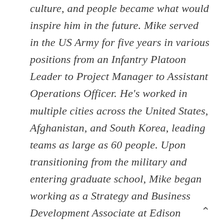culture, and people became what would inspire him in the future. Mike served in the US Army for five years in various positions from an Infantry Platoon Leader to Project Manager to Assistant Operations Officer. He's worked in multiple cities across the United States, Afghanistan, and South Korea, leading teams as large as 60 people. Upon transitioning from the military and entering graduate school, Mike began working as a Strategy and Business Development Associate at Edison Water Resources, an Edison International company where he tackled a wide-array of issues around scalability and growth. In early 2017, Mike and his co-founder, Theo Lee, launched KPOP Foods. Mike received a B.S. in Engineering Management from the United States Military Academy at West Point and his M.B.A. from UCLA Anderson.